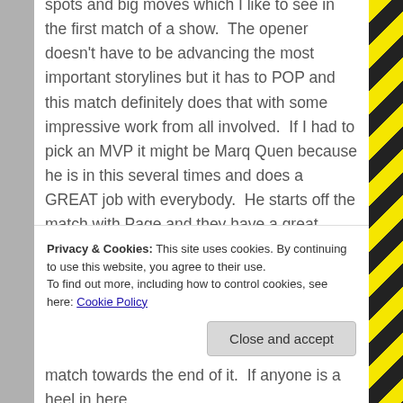spots and big moves which I like to see in the first match of a show. The opener doesn't have to be advancing the most important storylines but it has to POP and this match definitely does that with some impressive work from all involved. If I had to pick an MVP it might be Marq Quen because he is in this several times and does a GREAT job with everybody. He starts off the match with Page and they have a great exchange for a bit before the rest of Hardy Party tries a triple team. Page manages to avoid it however and Silver & Reynolds rush in to make the save and look like superstars while doing it! With Silver cooking up as
Privacy & Cookies: This site uses cookies. By continuing to use this website, you agree to their use.
To find out more, including how to control cookies, see here: Cookie Policy
Close and accept
match towards the end of it. If anyone is a heel in here,